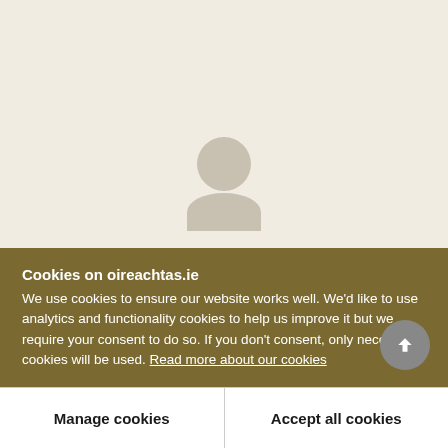[Figure (illustration): Generic person avatar silhouette in beige/tan color, consisting of a circular head and rounded body/shoulders shape]
Mr. WILSON
The great danger I see in this matter is, not so much from the county surveyor as from the
Cookies on oireachtas.ie
We use cookies to ensure our website works well. We'd like to use analytics and functionality cookies to help us improve it but we require your consent to do so. If you don't consent, only necessary cookies will be used. Read more about our cookies
Manage cookies
Accept all cookies